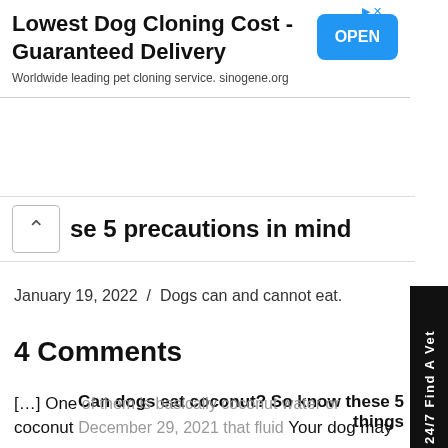[Figure (other): Advertisement banner: Lowest Dog Cloning Cost - Guaranteed Delivery. Worldwide leading pet cloning service. sinogene.org. Blue OPEN button.]
se 5 precautions in mind
January 19, 2022  /  Dogs can and cannot eat.
[Figure (other): Side tab: 24/7 Find A Vet (vertical, black background, white text)]
4 Comments
Can dogs eat coconut? So know these 5 things
[…] One of them is basically coconut water or coconut milk, December 29, 2021 that fluid Your dog may